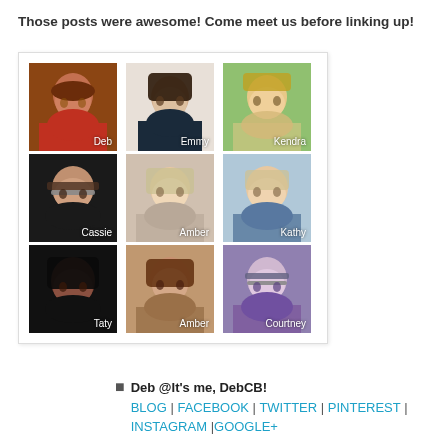Those posts were awesome! Come meet us before linking up!
[Figure (photo): 3x3 grid of portrait photos of bloggers: Deb, Emmy, Kendra (top row); Cassie, Amber, Kathy (middle row); Taty, Amber, Courtney (bottom row)]
Deb @It's me, DebCB!
BLOG | FACEBOOK | TWITTER | PINTEREST | INSTAGRAM |GOOGLE+